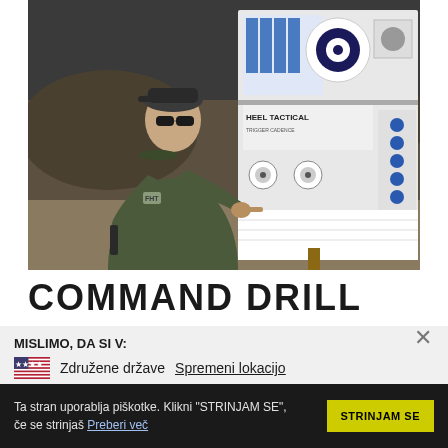[Figure (photo): A man in military-style olive green jacket and cap, wearing sunglasses, pointing at a shooting target board labeled 'HEEL TACTICAL'. He is holding a firearm and standing outdoors at a shooting range.]
COMMAND DRILL
MISLIMO, DA SI V:
Združene države   Spremeni lokacijo
Ta stran uporablja piškotke. Klikni "STRINJAM SE", če se strinjaš Preberi več
STRINJAM SE